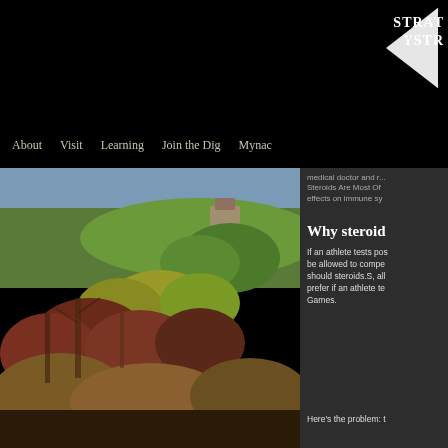STRAT YSTR
About  Visit  Learning  Join the Dig  Mynac
[Figure (photo): Landscape photograph of a hillside garden with colorful autumn shrubs and trees — red, yellow, green foliage — with green grass and buildings visible in background under blue sky]
medical doctor and r... Steroids Are Most Of effects on immune sy
Why steroid
If an athlete tests pos be allowed to compe should steroids.S, all prefer if an athlete te Games.
Here's the problem: t